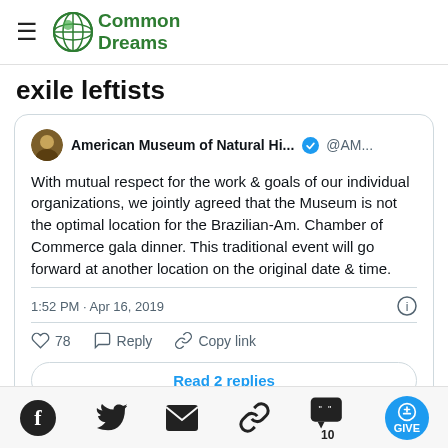Common Dreams
exile leftists
American Museum of Natural Hi... @AM...
With mutual respect for the work & goals of our individual organizations, we jointly agreed that the Museum is not the optimal location for the Brazilian-Am. Chamber of Commerce gala dinner. This traditional event will go forward at another location on the original date & time.
1:52 PM · Apr 16, 2019
78  Reply  Copy link
Read 2 replies
Facebook  Twitter  Email  Copy link  10 comments  GIVE